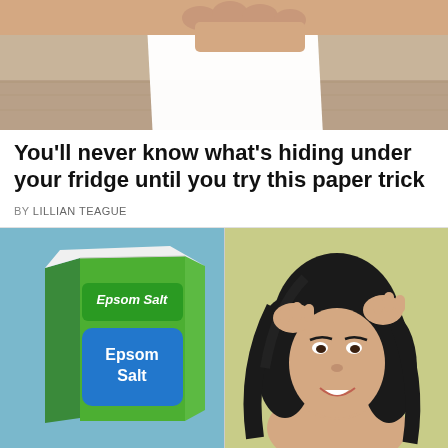[Figure (photo): Top partial photo showing hands placing a white paper sheet on a wooden surface]
You'll never know what's hiding under your fridge until you try this paper trick
BY LILLIAN TEAGUE
[Figure (illustration): Illustrated image of an Epsom Salt box (green and blue) on a light blue background]
[Figure (illustration): Illustrated image of a woman with dark hair massaging her scalp, on a yellow-green background]
© Cooktop Cove   About Ads   Terms   Privacy   Do Not Sell My Info